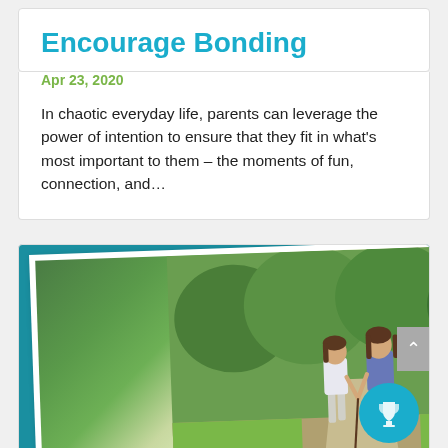Encourage Bonding
Apr 23, 2020
In chaotic everyday life, parents can leverage the power of intention to ensure that they fit in what’s most important to them – the moments of fun, connection, and…
[Figure (photo): Two young girls walking hand-in-hand on a path through a green wooded area, viewed from behind. A teal background card with a trophy icon circle in the bottom right corner.]